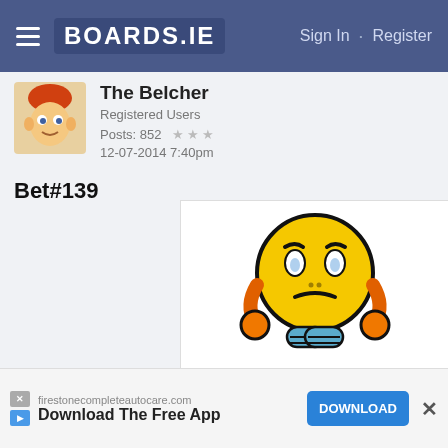BOARDS.IE  Sign In · Register
The Belcher
Registered Users
Posts: 852 ★★★
12-07-2014 7:40pm
Bet#139
[Figure (illustration): Sad yellow emoji face with orange hands on cheeks and blue feet, looking distressed]
firestonecompleteautocare.com
Download The Free App
DOWNLOAD